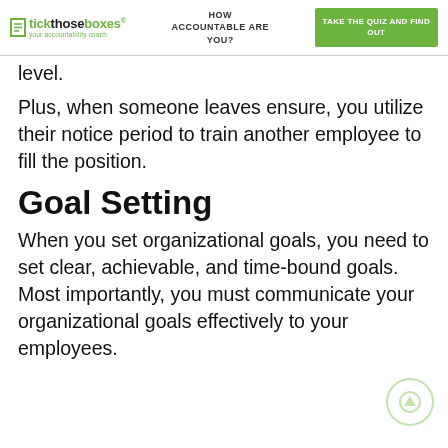tickthoseboxes® your accountability coach | HOW ACCOUNTABLE ARE YOU? | TAKE THE QUIZ AND FIND OUT
level.
Plus, when someone leaves ensure, you utilize their notice period to train another employee to fill the position.
Goal Setting
When you set organizational goals, you need to set clear, achievable, and time-bound goals. Most importantly, you must communicate your organizational goals effectively to your employees.
So set these different levels of...